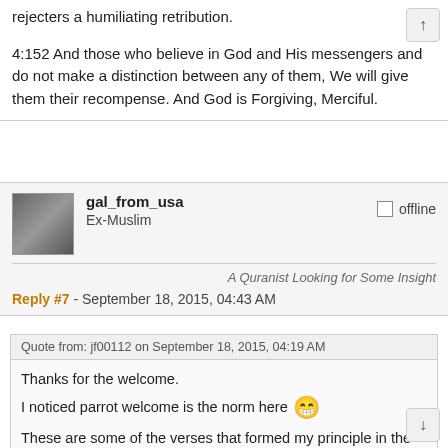rejecters a humiliating retribution.
4:152 And those who believe in God and His messengers and do not make a distinction between any of them, We will give them their recompense. And God is Forgiving, Merciful.
gal_from_usa
Ex-Muslim
offline
A Quranist Looking for Some Insight
Reply #7 - September 18, 2015, 04:43 AM
Quote from: jf00112 on September 18, 2015, 04:19 AM
Thanks for the welcome.

I noticed parrot welcome is the norm here

These are some of the verses that formed my principle in the universality of monotheism and that their belief systems don't have to be uniform so long that they:
- believe in one God
- believe in the Last Day